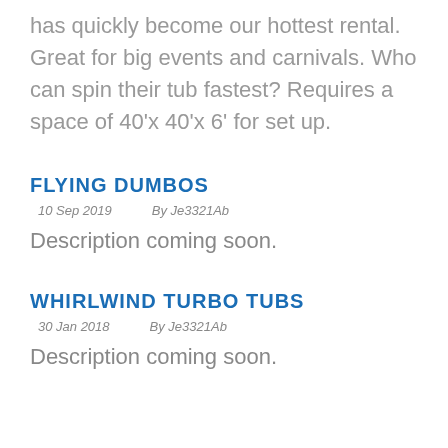has quickly become our hottest rental. Great for big events and carnivals. Who can spin their tub fastest? Requires a space of 40'x 40'x 6' for set up.
FLYING DUMBOS
10 Sep 2019    By Je3321Ab
Description coming soon.
WHIRLWIND TURBO TUBS
30 Jan 2018    By Je3321Ab
Description coming soon.